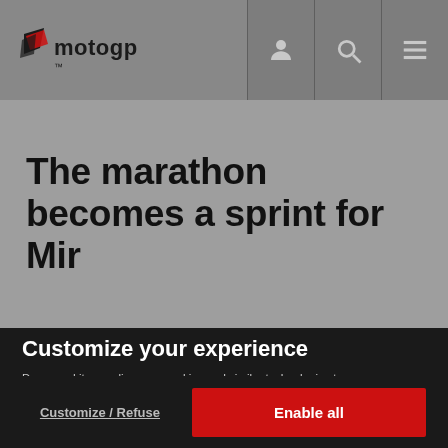MotoGP - navigation header with logo and icons
The marathon becomes a sprint for Mir
Customize your experience
Dorna and its suppliers use cookies and similar technologies to measure your interactions with our websites, products and services, and to show you personalized advertising based on a profile made from your browsing habits (for example, pages viewed by you). By clicking "Enable all", you agree to the storing of our cookies on your device for those purposes. By clicking "Customize" you can choose which categories of cookies you prefer to enable or refuse, and you can also choose to refuse them all. You can always check our Cookies Policy for further information. Cookie Policy
Customize / Refuse
Enable all